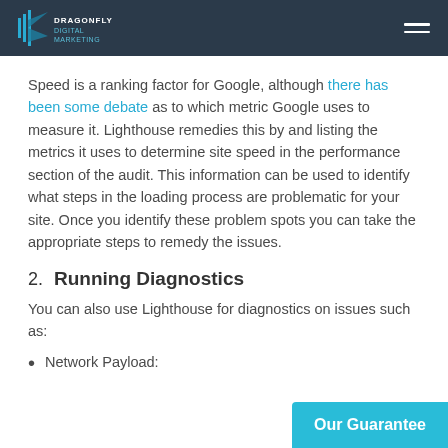Dragonfly Digital Marketing
Speed is a ranking factor for Google, although there has been some debate as to which metric Google uses to measure it. Lighthouse remedies this by and listing the metrics it uses to determine site speed in the performance section of the audit. This information can be used to identify what steps in the loading process are problematic for your site. Once you identify these problem spots you can take the appropriate steps to remedy the issues.
2. Running Diagnostics
You can also use Lighthouse for diagnostics on issues such as:
Network Payload: